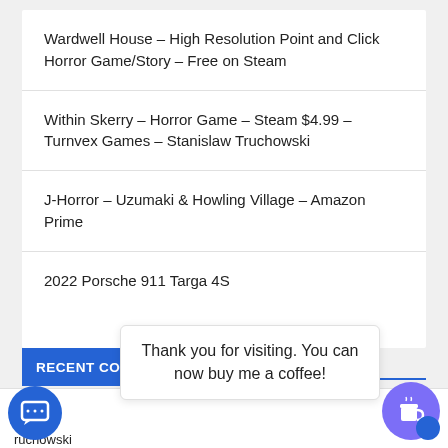Wardwell House – High Resolution Point and Click Horror Game/Story – Free on Steam
Within Skerry – Horror Game – Steam $4.99 – Turnvex Games – Stanislaw Truchowski
J-Horror – Uzumaki & Howling Village – Amazon Prime
2022 Porsche 911 Targa 4S
RECENT COMMENTS
Thank you for visiting. You can now buy me a coffee!